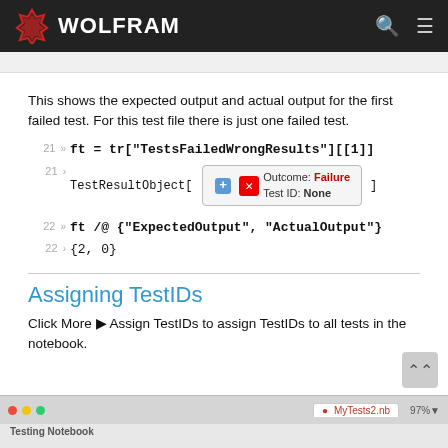WOLFRAM
This shows the expected output and actual output for the first failed test. For this test file there is just one failed test.
[Figure (screenshot): Wolfram notebook cell: 21 In: ft = tr["TestsFailedWrongResults"][[1]] with output showing TestResultObject with Outcome: Failure, Test ID: None]
[Figure (screenshot): Wolfram notebook cell: 22 In: ft /@ {"ExpectedOutput", "ActualOutput"} with output 22> {2, 0}]
Assigning TestIDs
Click More ▶ Assign TestIDs to assign TestIDs to all tests in the notebook.
[Figure (screenshot): Screenshot of Testing Notebook - MyTests2.nb at bottom of page]